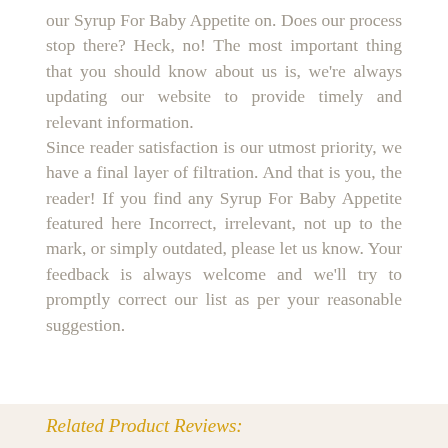our Syrup For Baby Appetite on. Does our process stop there? Heck, no! The most important thing that you should know about us is, we're always updating our website to provide timely and relevant information. Since reader satisfaction is our utmost priority, we have a final layer of filtration. And that is you, the reader! If you find any Syrup For Baby Appetite featured here Incorrect, irrelevant, not up to the mark, or simply outdated, please let us know. Your feedback is always welcome and we'll try to promptly correct our list as per your reasonable suggestion.
Related Product Reviews: